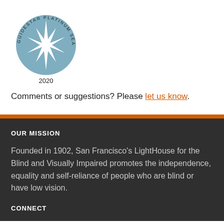[Figure (logo): GuideStar Platinum Seal of Transparency 2020 — circular blue badge with a white star burst in the center and text around the perimeter reading GUIDESTAR PLATINUM SEAL OF TRANSPARENCY, with 2020 below the circle.]
Comments or suggestions? Please let us know.
OUR MISSION
Founded in 1902, San Francisco's LightHouse for the Blind and Visually Impaired promotes the independence, equality and self-reliance of people who are blind or have low vision.
CONNECT